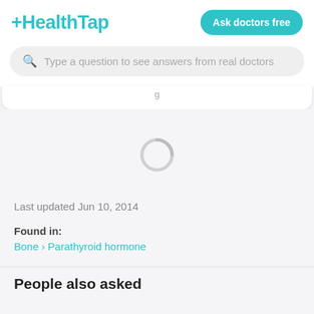[Figure (logo): HealthTap logo in teal/cyan color with plus sign prefix]
Ask doctors free
Type a question to see answers from real doctors
[Figure (other): Loading spinner graphic, circular arc in gray]
Last updated Jun 10, 2014
Found in:
Bone › Parathyroid hormone
People also asked